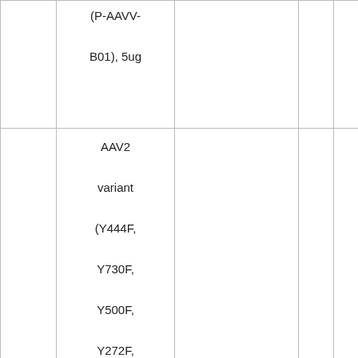|  | (P-AAVV-B01), 5ug |  |  |  |
|  | AAV2 variant (Y444F, Y730F, Y500F, Y272F, Y704F, Y252F) vector system Cat.No.:P-PK05 1, AAV2 |  |  |  |